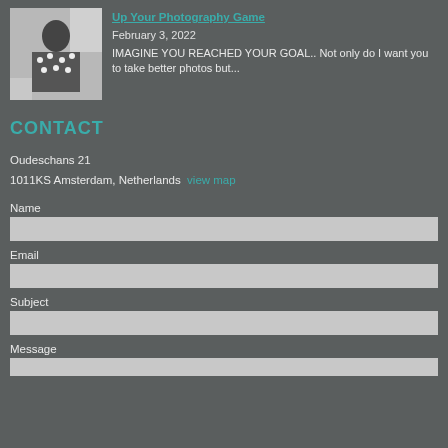[Figure (photo): Black and white photo thumbnail showing a figure in a polka dot garment]
Up Your Photography Game
February 3, 2022
IMAGINE YOU REACHED YOUR GOAL.. Not only do I want you to take better photos but...
CONTACT
Oudeschans 21
1011KS Amsterdam, Netherlands  view map
Name
Email
Subject
Message